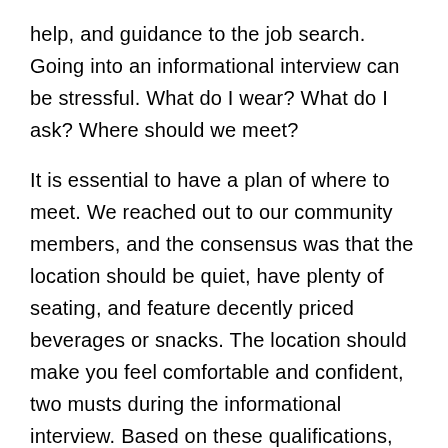help, and guidance to the job search. Going into an informational interview can be stressful. What do I wear? What do I ask? Where should we meet?
It is essential to have a plan of where to meet. We reached out to our community members, and the consensus was that the location should be quiet, have plenty of seating, and feature decently priced beverages or snacks. The location should make you feel comfortable and confident, two musts during the informational interview. Based on these qualifications, we put together a list of the best places to meet for informational interviews in NYC by area. Scroll down to see the best spots for conversation and networking!